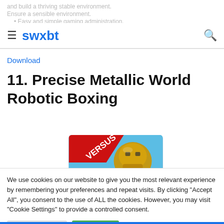swxbt
and build a thriving stable environment. Ensure a sensible environment. Easy and simple gaming administration.
Download
11. Precise Metallic World Robotic Boxing
[Figure (photo): Game thumbnail showing a robotic boxing image with a red 'VERSUS' ribbon banner and metallic robot head on a blue background]
We use cookies on our website to give you the most relevant experience by remembering your preferences and repeat visits. By clicking "Accept All", you consent to the use of ALL the cookies. However, you may visit "Cookie Settings" to provide a controlled consent.